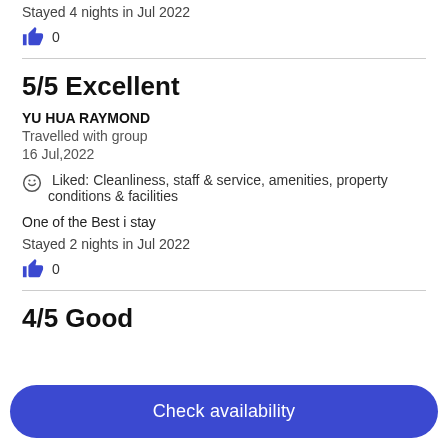Stayed 4 nights in Jul 2022
0
5/5 Excellent
YU HUA RAYMOND
Travelled with group
16 Jul,2022
Liked: Cleanliness, staff & service, amenities, property conditions & facilities
One of the Best i stay
Stayed 2 nights in Jul 2022
0
4/5 Good
Check availability